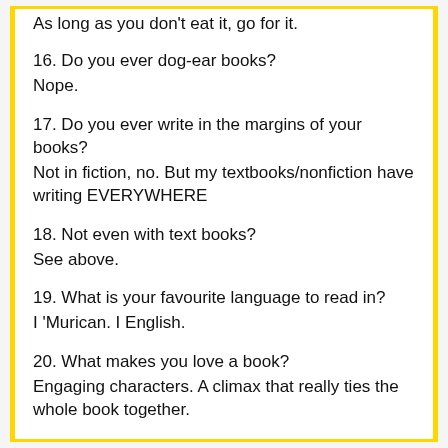As long as you don't eat it, go for it.
16. Do you ever dog-ear books?
Nope.
17. Do you ever write in the margins of your books?
Not in fiction, no. But my textbooks/nonfiction have writing EVERYWHERE
18. Not even with text books?
See above.
19. What is your favourite language to read in?
I 'Murican. I English.
20. What makes you love a book?
Engaging characters. A climax that really ties the whole book together.